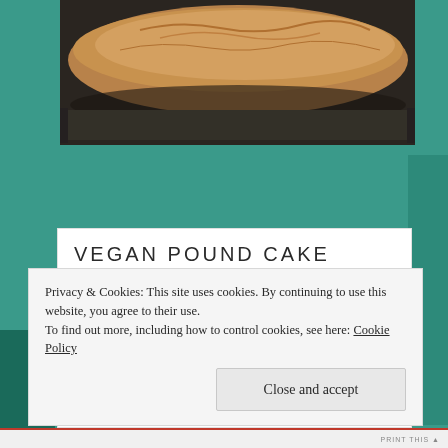[Figure (photo): Close-up photo of a baked vegan pound cake loaf, golden-brown crust, in a dark baking pan, top portion visible]
VEGAN POUND CAKE
Servings: 8-10   Time: 1hr 15mins   Difficulty: Easy   Print
Privacy & Cookies: This site uses cookies. By continuing to use this website, you agree to their use.
To find out more, including how to control cookies, see here: Cookie Policy
Close and accept